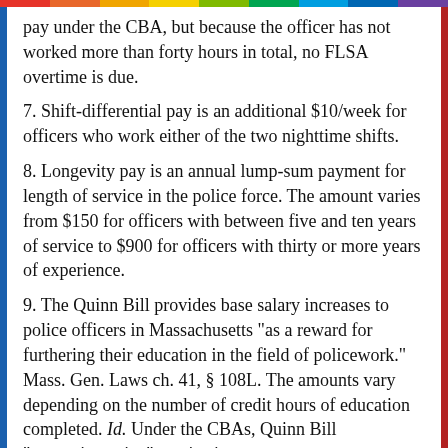pay under the CBA, but because the officer has not worked more than forty hours in total, no FLSA overtime is due.
7. Shift-differential pay is an additional $10/week for officers who work either of the two nighttime shifts.
8. Longevity pay is an annual lump-sum payment for length of service in the police force. The amount varies from $150 for officers with between five and ten years of service to $900 for officers with thirty or more years of experience.
9. The Quinn Bill provides base salary increases to police officers in Massachusetts "as a reward for furthering their education in the field of policework." Mass. Gen. Laws ch. 41, § 108L. The amounts vary depending on the number of credit hours of education completed. Id. Under the CBAs, Quinn Bill "career-incentive" pay is given to